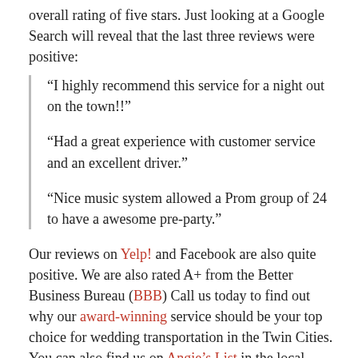overall rating of five stars. Just looking at a Google Search will reveal that the last three reviews were positive:
“I highly recommend this service for a night out on the town!!”
“Had a great experience with customer service and an excellent driver.”
“Nice music system allowed a Prom group of 24 to have a awesome pre-party.”
Our reviews on Yelp! and Facebook are also quite positive. We are also rated A+ from the Better Business Bureau (BBB) Call us today to find out why our award-winning service should be your top choice for wedding transportation in the Twin Cities. You can also find us on Angie’s List in the local Minneapolis area for limousine businesses.